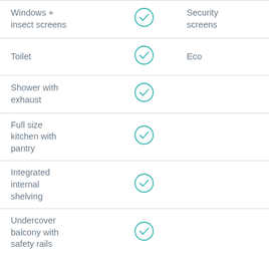| Feature | Included | Note |
| --- | --- | --- |
| Windows + insect screens | ✓ | Security screens |
| Toilet | ✓ | Eco |
| Shower with exhaust | ✓ |  |
| Full size kitchen with pantry | ✓ |  |
| Integrated internal shelving | ✓ |  |
| Undercover balcony with safety rails | ✓ |  |